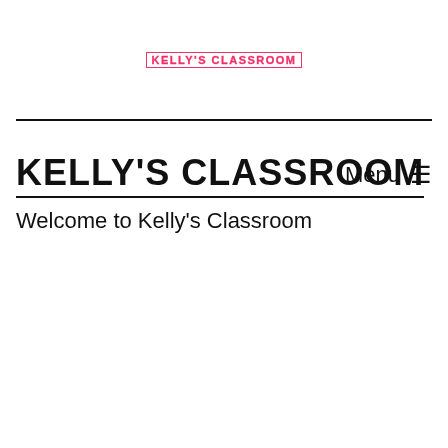KELLY'S CLASSROOM
KELLY'S CLASSROOM
Welcome to Kelly's Classroom
Menu ≡